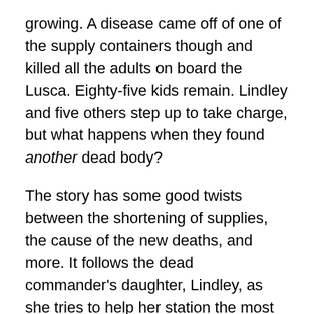growing. A disease came off of one of the supply containers though and killed all the adults on board the Lusca. Eighty-five kids remain. Lindley and five others step up to take charge, but what happens when they found another dead body?
The story has some good twists between the shortening of supplies, the cause of the new deaths, and more. It follows the dead commander's daughter, Lindley, as she tries to help her station the most she can. Lindley is a strong character, but she overthinks a good amount of her steps. Not everything she does is correct, which I like. Everyone, even the main character, can make mistakes.
I have two super major critiques that bothered me.
One – The beginning felt rushed. The reader gets thrown